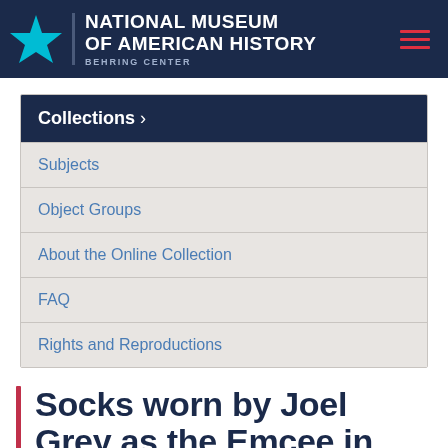NATIONAL MUSEUM OF AMERICAN HISTORY BEHRING CENTER
Collections >
Subjects
Object Groups
About the Online Collection
FAQ
Rights and Reproductions
Socks worn by Joel Grey as the Emcee in Cabaret